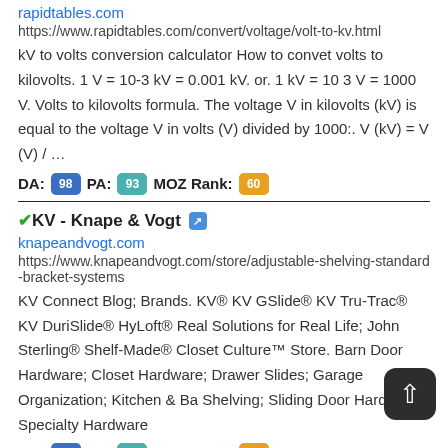rapidtables.com
https://www.rapidtables.com/convert/voltage/volt-to-kv.html
kV to volts conversion calculator How to convet volts to kilovolts. 1 V = 10-3 kV = 0.001 kV. or. 1 kV = 10 3 V = 1000 V. Volts to kilovolts formula. The voltage V in kilovolts (kV) is equal to the voltage V in volts (V) divided by 1000:. V (kV) = V (V) / …
DA: 98 PA: 93 MOZ Rank: 60
KV - Knape & Vogt
knapeandvogt.com
https://www.knapeandvogt.com/store/adjustable-shelving-standard-bracket-systems
KV Connect Blog; Brands. KV® KV GSlide® KV Tru-Trac® KV DuriSlide® HyLoft® Real Solutions for Real Life; John Sterling® Shelf-Made® Closet Culture™ Store. Barn Door Hardware; Closet Hardware; Drawer Slides; Garage Organization; Kitchen & Ba Shelving; Sliding Door Hardware; Specialty Hardware
DA: 80 PA: 88 MOZ Rank: 60